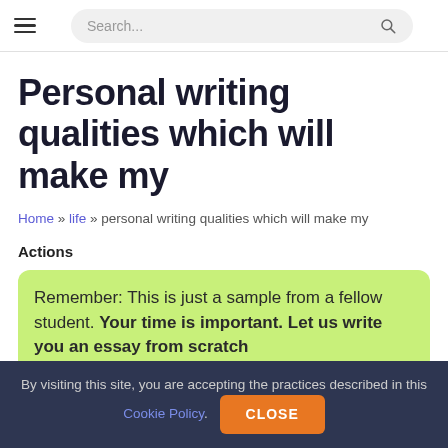≡  Search...
Personal writing qualities which will make my
Home » life » personal writing qualities which will make my
Actions
Remember: This is just a sample from a fellow student. Your time is important. Let us write you an essay from scratch
By visiting this site, you are accepting the practices described in this Cookie Policy.  CLOSE